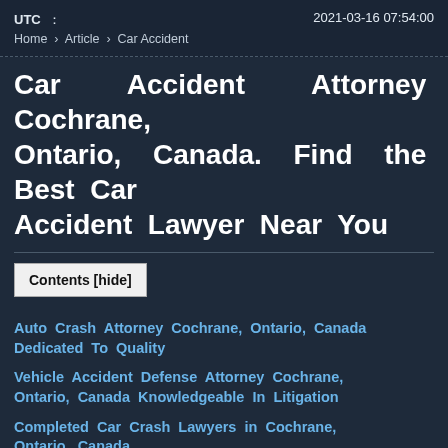UTC : 2021-03-16 07:54:00
Home › Article › Car Accident
Car Accident Attorney Cochrane, Ontario, Canada. Find the Best Car Accident Lawyer Near You
Contents [hide]
Auto Crash Attorney Cochrane, Ontario, Canada Dedicated To Quality
Vehicle Accident Defense Attorney Cochrane, Ontario, Canada Knowledgeable In Litigation
Completed Car Crash Lawyers in Cochrane, Ontario, Canada
Strategic Automobile Mishap Attorney Cochrane, Ontario, Canada
Dedicated Car Accident Attorney in Cochr…